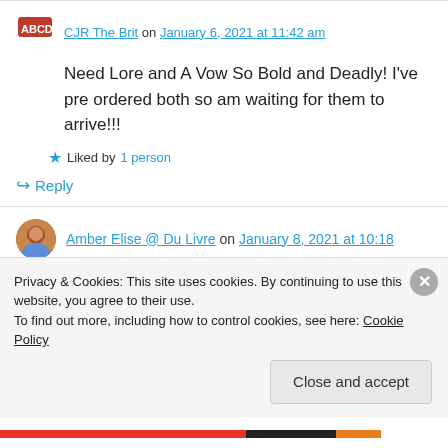CJR The Brit on January 6, 2021 at 11:42 am
Need Lore and A Vow So Bold and Deadly! I've pre ordered both so am waiting for them to arrive!!!
Liked by 1 person
↳ Reply
Amber Elise @ Du Livre on January 8, 2021 at 10:18
Privacy & Cookies: This site uses cookies. By continuing to use this website, you agree to their use.
To find out more, including how to control cookies, see here: Cookie Policy
Close and accept